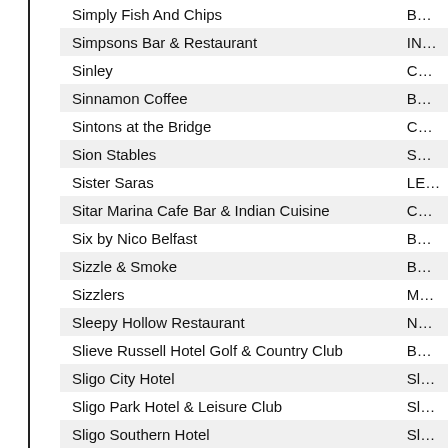| Name | Location |
| --- | --- |
| Simply Fish And Chips | B… |
| Simpsons Bar & Restaurant | IN… |
| Sinley | C… |
| Sinnamon Coffee | B… |
| Sintons at the Bridge | C… |
| Sion Stables | S… |
| Sister Saras | LE… |
| Sitar Marina Cafe Bar & Indian Cuisine | C… |
| Six by Nico Belfast | B… |
| Sizzle & Smoke | B… |
| Sizzlers | M… |
| Sleepy Hollow Restaurant | N… |
| Slieve Russell Hotel Golf & Country Club | B… |
| Sligo City Hotel | Sl… |
| Sligo Park Hotel & Leisure Club | Sl… |
| Sligo Southern Hotel | Sl… |
| Slim Kitchen | B… |
| Slums | B… |
| Soda & Starch | D… |